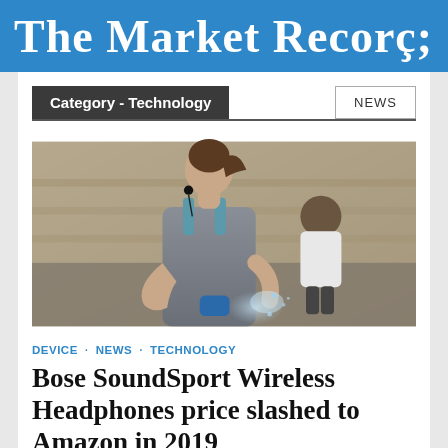The Market Record;
Category - Technology
NEWS
[Figure (photo): Woman wearing wireless earbuds in a gym, looking down, holding a water bottle with a spray of water, man in background]
DEVICE · NEWS · TECHNOLOGY
Bose SoundSport Wireless Headphones price slashed to Amazon in 2019